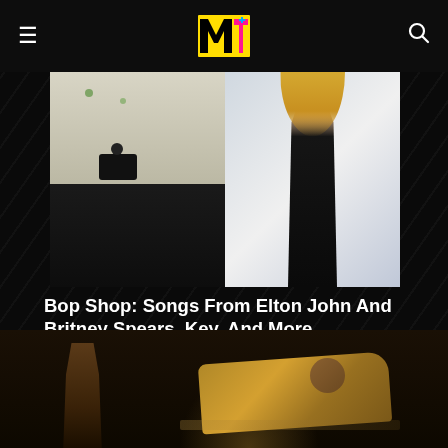MTV logo, hamburger menu, search icon
[Figure (photo): Split image: left side shows a man in white jacket near a piano/camera equipment; right side shows a blonde woman (Britney Spears) in a black outfit from behind]
Bop Shop: Songs From Elton John And Britney Spears, Key, And More
Brit's six-year hiatus is over! Celebrate her comeback collab with the Rocket Man himself
09/02/2022
[Figure (photo): Two women in gold/sparkly outfits on a dark stage, one lying on a surface posing, the other standing]